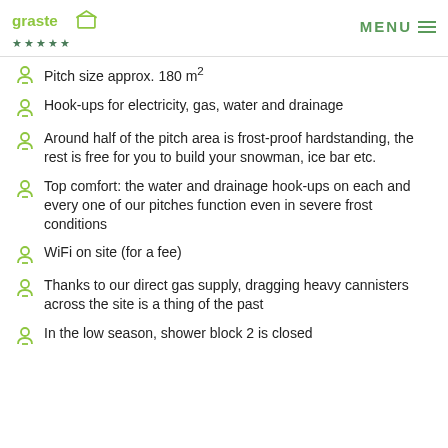★★★★★  MENU
Pitch size approx. 180 m²
Hook-ups for electricity, gas, water and drainage
Around half of the pitch area is frost-proof hardstanding, the rest is free for you to build your snowman, ice bar etc.
Top comfort: the water and drainage hook-ups on each and every one of our pitches function even in severe frost conditions
WiFi on site (for a fee)
Thanks to our direct gas supply, dragging heavy cannisters across the site is a thing of the past
In the low season, shower block 2 is closed